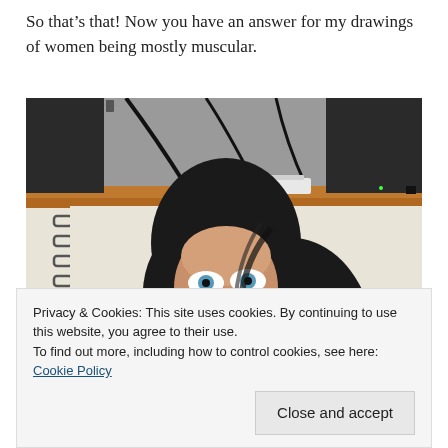So that’s that! Now you have an answer for my drawings of women being mostly muscular.
[Figure (photo): A sketch/drawing in a spiral-bound sketchbook of a woman's face with long dark hair, looking upward, with stylized wide eyes and lips, resting on a wooden desk with computer monitors and cables visible in the background.]
Privacy & Cookies: This site uses cookies. By continuing to use this website, you agree to their use.
To find out more, including how to control cookies, see here: Cookie Policy
Close and accept